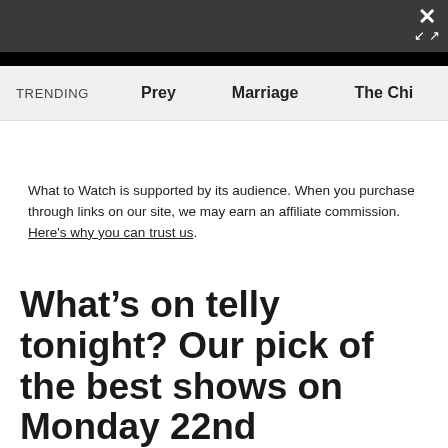[Figure (screenshot): Dark grey top navigation bar with close/expand icons in upper right corner]
TRENDING   Prey   Marriage   The Chi
What to Watch is supported by its audience. When you purchase through links on our site, we may earn an affiliate commission. Here's why you can trust us.
What’s on telly tonight? Our pick of the best shows on Monday 22nd